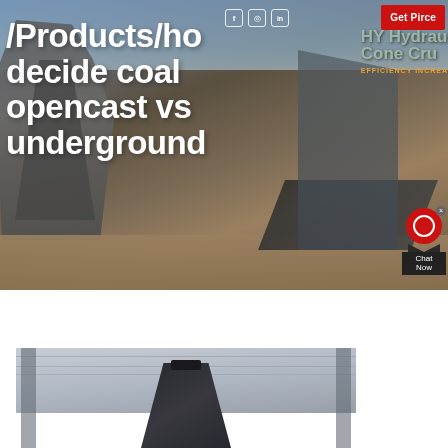[Figure (photo): Industrial mining/crushing facility with heavy machinery, conveyors, and equipment against a blue sky background. Large bold white text overlay shows website navigation path and article title about coal mining methods.]
/Products/how decide coal opencast vs underground
[Figure (photo): Interior industrial facility showing ceiling structure with rafters and a dark mechanical component (possibly a hopper or crusher) visible from below.]